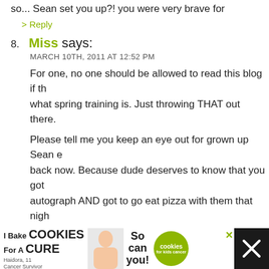so... Sean set you up?! you were very brave for
> Reply
8. Miss says: MARCH 10TH, 2011 AT 12:52 PM
For one, no one should be allowed to read this blog if th... what spring training is. Just throwing THAT out there.
Please tell me you keep an eye out for grown up Sean e... back now. Because dude deserves to know that you got... autograph AND got to go eat pizza with them that nigh...
> Reply
9. Megan@TrueDaughter says: MARCH 10TH, 2011 AT 2:46 PM
HAHA – I thought it was going to be something like you... of the locker room or something! Really, Mike, nothing... that? You say criminal and then give us trespassing? I b... you beat in this department! :)
[Figure (infographic): Advertisement banner: I Bake COOKIES For A CURE - Haidora, 11 Cancer Survivor - So can you! - cookies for kids cancer logo]